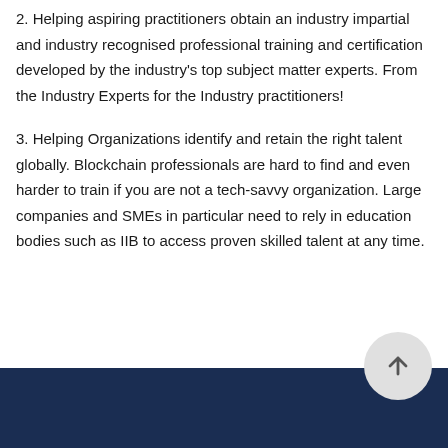2. Helping aspiring practitioners obtain an industry impartial and industry recognised professional training and certification developed by the industry's top subject matter experts. From the Industry Experts for the Industry practitioners!
3. Helping Organizations identify and retain the right talent globally. Blockchain professionals are hard to find and even harder to train if you are not a tech-savvy organization. Large companies and SMEs in particular need to rely in education bodies such as IIB to access proven skilled talent at any time.
[Figure (other): Scroll-to-top button: circular grey button with upward arrow icon, positioned at bottom right]